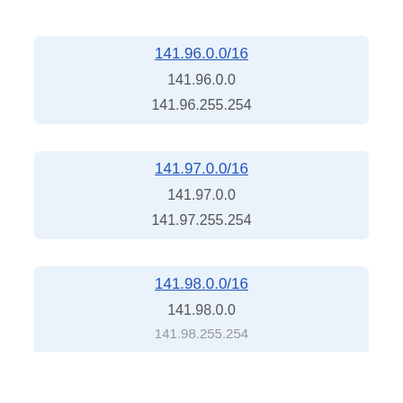141.96.0.0/16
141.96.0.0
141.96.255.254
141.97.0.0/16
141.97.0.0
141.97.255.254
141.98.0.0/16
141.98.0.0
141.98.255.254